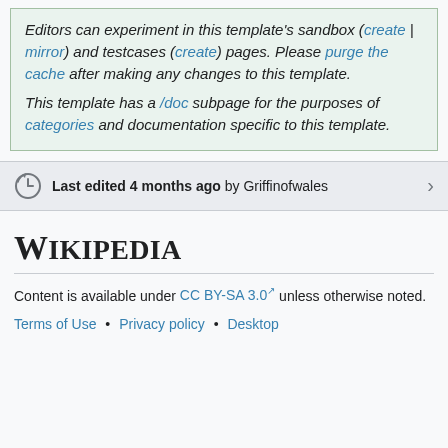Editors can experiment in this template's sandbox (create | mirror) and testcases (create) pages. Please purge the cache after making any changes to this template. This template has a /doc subpage for the purposes of categories and documentation specific to this template.
Last edited 4 months ago by Griffinofwales
Wikipedia
Content is available under CC BY-SA 3.0 unless otherwise noted.
Terms of Use • Privacy policy • Desktop